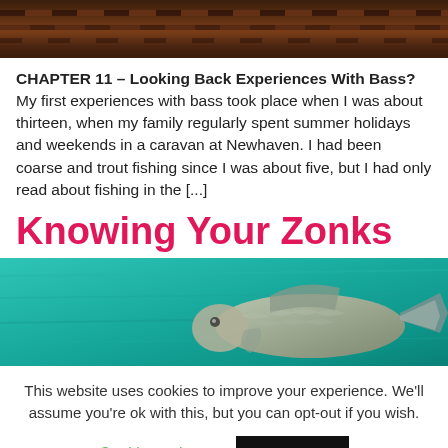[Figure (photo): Top portion of an image showing wooden dock or pier planks with dark brown tones]
CHAPTER 11 – Looking Back Experiences With Bass? My first experiences with bass took place when I was about thirteen, when my family regularly spent summer holidays and weekends in a caravan at Newhaven. I had been coarse and trout fishing since I was about five, but I had only read about fishing in the [...]
Knowing Your Zonks
[Figure (photo): A fish (bass) seen from above in turquoise/teal colored water]
This website uses cookies to improve your experience. We'll assume you're ok with this, but you can opt-out if you wish.
Cookie settings   ACCEPT